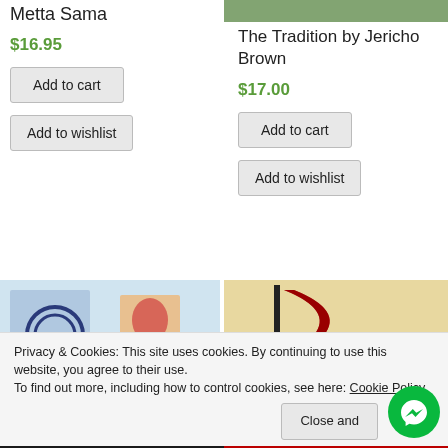Metta Sama
$16.95
Add to cart
Add to wishlist
[Figure (photo): Book cover image top right]
The Tradition by Jericho Brown
$17.00
Add to cart
Add to wishlist
[Figure (photo): Book with decorative blue circular design, flowers in background]
[Figure (photo): Book with large red/black R letter on cream background]
Privacy & Cookies: This site uses cookies. By continuing to use this website, you agree to their use. To find out more, including how to control cookies, see here: Cookie Policy
Close and
[Figure (logo): Facebook Messenger green circular button]
[Figure (photo): Bottom strip left - AMIKIYA text]
[Figure (photo): Bottom strip right - red background image]